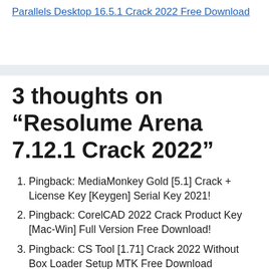Parallels Desktop 16.5.1 Crack 2022 Free Download
3 thoughts on “Resolume Arena 7.12.1 Crack 2022”
Pingback: MediaMonkey Gold [5.1] Crack + License Key [Keygen] Serial Key 2021!
Pingback: CorelCAD 2022 Crack Product Key [Mac-Win] Full Version Free Download!
Pingback: CS Tool [1.71] Crack 2022 Without Box Loader Setup MTK Free Download